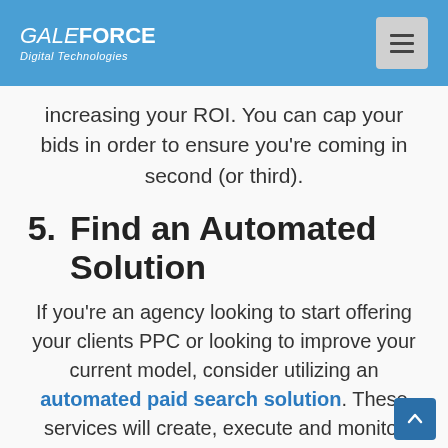GALEFORCE Digital Technologies
increasing your ROI. You can cap your bids in order to ensure you're coming in second (or third).
5. Find an Automated Solution
If you're an agency looking to start offering your clients PPC or looking to improve your current model, consider utilizing an automated paid search solution. These services will create, execute and monitor campaigns on your behalf for your clients. You can have the